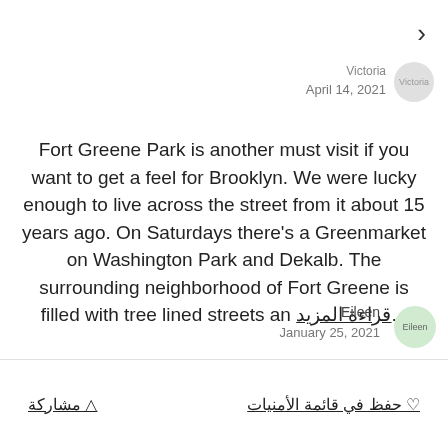>
Victoria
April 14, 2021
Fort Greene Park is another must visit if you want to get a feel for Brooklyn. We were lucky enough to live across the street from it about 15 years ago. On Saturdays there's a Greenmarket on Washington Park and Dekalb. The surrounding neighborhood of Fort Greene is filled with tree lined streets an... قراءة المزيد
Eileen
January 25, 2021
♡ حفظ في قائمة الأمنيات
⬆ مشاركة